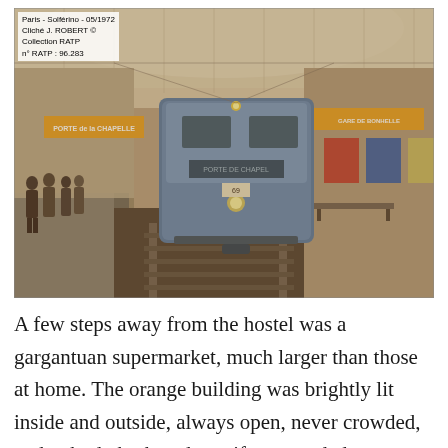[Figure (photo): Vintage black-and-white/sepia photograph of a Paris Metro station (Solférino), dated 05/1972. A blue metro train is arriving at a platform. Passengers are standing on the left platform. Signs visible include 'PORTE de la CHAPELLE'. Top-left corner has a text annotation: 'Paris - Solférino - 05/1972 / Cliché J. ROBERT © / Collection RATP / n° RATP : 96.283'.]
A few steps away from the hostel was a gargantuan supermarket, much larger than those at home. The orange building was brightly lit inside and outside, always open, never crowded, and nobody bothered you if you needed to